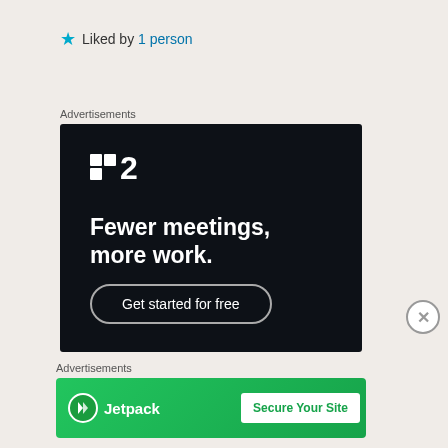Liked by 1 person
Advertisements
[Figure (other): P2 app advertisement with dark background showing logo, tagline 'Fewer meetings, more work.' and 'Get started for free' button]
Advertisements
[Figure (other): Jetpack advertisement on green background with 'Secure Your Site' button]